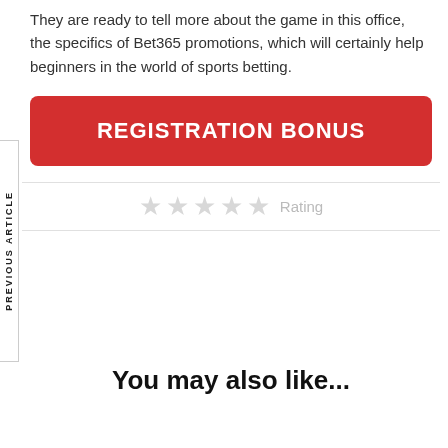They are ready to tell more about the game in this office, the specifics of Bet365 promotions, which will certainly help beginners in the world of sports betting.
[Figure (other): Red registration bonus button with white uppercase text 'REGISTRATION BONUS']
[Figure (other): Five grey star rating icons followed by the word 'Rating' in grey text]
You may also like...